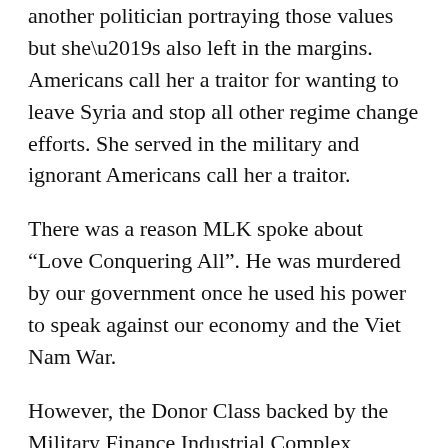another politician portraying those values but she's also left in the margins. Americans call her a traitor for wanting to leave Syria and stop all other regime change efforts. She served in the military and ignorant Americans call her a traitor.
There was a reason MLK spoke about “Love Conquering All”. He was murdered by our government once he used his power to speak against our economy and the Viet Nam War.
However, the Donor Class backed by the Military Finance Industrial Complex doesn’t want to hear about “LOVE” and they don’t want peace or brotherly love. As you mentioned, they intentionally “stoke those flames.”